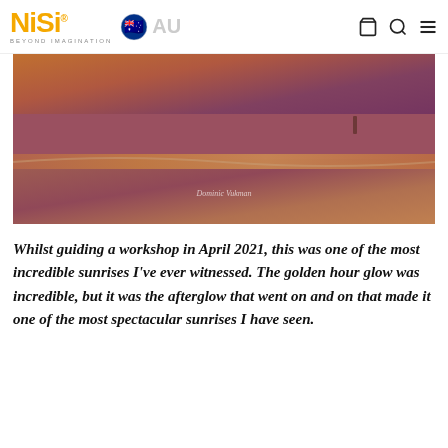NiSi® AU BEYOND IMAGINATION
[Figure (photo): Landscape photo of a beach at sunrise with golden and purple/pink afterglow reflecting on wet sand, with a watermark signature]
Whilst guiding a workshop in April 2021, this was one of the most incredible sunrises I've ever witnessed. The golden hour glow was incredible, but it was the afterglow that went on and on that made it one of the most spectacular sunrises I have seen.